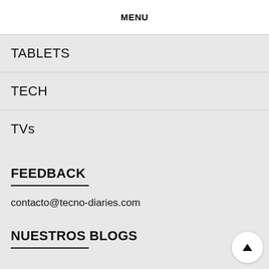MENU
TABLETS
TECH
TVs
FEEDBACK
contacto@tecno-diaries.com
NUESTROS BLOGS